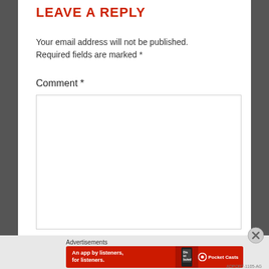LEAVE A REPLY
Your email address will not be published. Required fields are marked *
Comment *
[Figure (other): Empty comment text area input box with border]
Advertisements
[Figure (other): Pocket Casts advertisement banner: red background with phone image, text: An app by listeners, for listeners. Pocket Casts logo on right.]